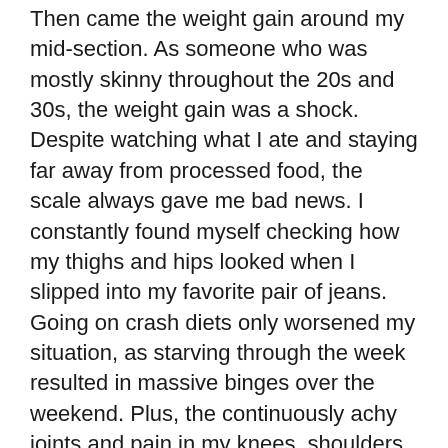Then came the weight gain around my mid-section. As someone who was mostly skinny throughout the 20s and 30s, the weight gain was a shock. Despite watching what I ate and staying far away from processed food, the scale always gave me bad news. I constantly found myself checking how my thighs and hips looked when I slipped into my favorite pair of jeans. Going on crash diets only worsened my situation, as starving through the week resulted in massive binges over the weekend. Plus, the continuously achy joints and pain in my knees, shoulders, and neck meant that I could not exercise regularly even though I wanted to.
Due to lower estrogen levels in my body, another consequence of menopause, I also started experiencing hair thinning and hair loss. My hair was falling out at an alarming rate. There was always more hair on the floor than there was on my head and every single